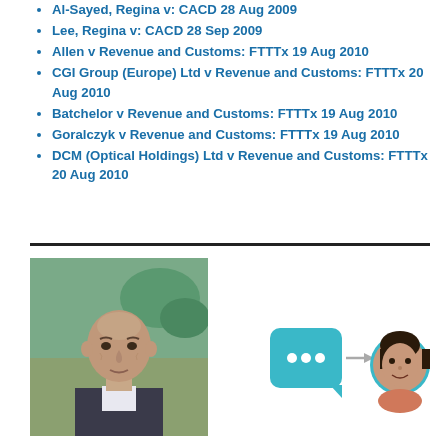Al-Sayed, Regina v: CACD 28 Aug 2009
Lee, Regina v: CACD 28 Sep 2009
Allen v Revenue and Customs: FTTTx 19 Aug 2010
CGI Group (Europe) Ltd v Revenue and Customs: FTTTx 20 Aug 2010
Batchelor v Revenue and Customs: FTTTx 19 Aug 2010
Goralczyk v Revenue and Customs: FTTTx 19 Aug 2010
DCM (Optical Holdings) Ltd v Revenue and Customs: FTTTx 20 Aug 2010
[Figure (photo): Headshot photo of a middle-aged man with a shaved head, wearing a suit, photographed outdoors.]
[Figure (infographic): A teal/blue chat bubble icon with three dots, an arrow pointing right, and a circular profile photo of a woman with dark hair, framed with a teal border.]